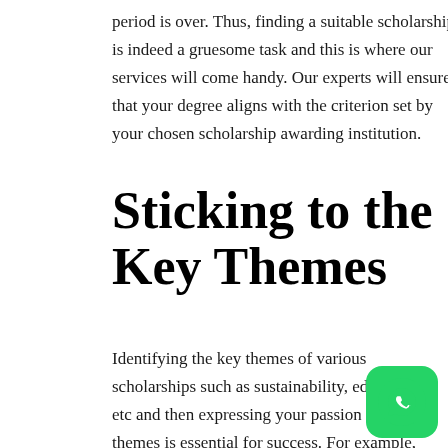period is over. Thus, finding a suitable scholarship is indeed a gruesome task and this is where our services will come handy. Our experts will ensure that your degree aligns with the criterion set by your chosen scholarship awarding institution.
Sticking to the Key Themes
Identifying the key themes of various scholarships such as sustainability, education, etc and then expressing your passion for these themes is essential for success. For example, Commonwealth Scholarships require the candidates to pursue a degree that can have a development impact. The
[Figure (logo): WhatsApp icon button — green rounded square with white phone handset logo]